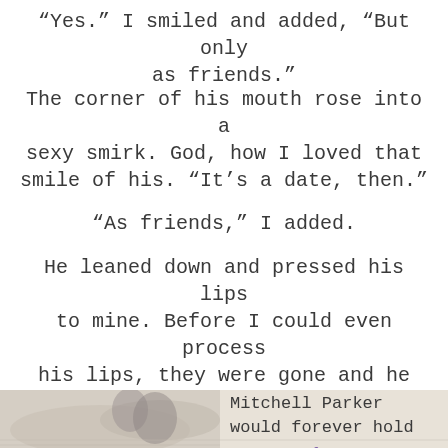“Yes.” I smiled and added, “But only as friends.”
The corner of his mouth rose into a sexy smirk. God, how I loved that smile of his. “It’s a date, then.”
“As friends,” I added.
He leaned down and pressed his lips to mine. Before I could even process his lips, they were gone and he was stepping back. “I’ll take it. For now.”
[Figure (photo): A romantic photo of a couple in a field, with overlay text reading 'Mitchell Parker would forever hold a piece of my heart,' the last phrase in purple cursive.]